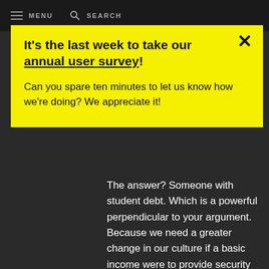MENU  SEARCH
It's the last week to take our annual user survey!
Can you spare ten minutes to let us know how we're doing? We appreciate it!
The answer? Someone with student debt. Which is a powerful perpendicular to your argument. Because we need a greater change in our culture if a basic income were to provide security for artists. We need to liberate the training of the artist from the